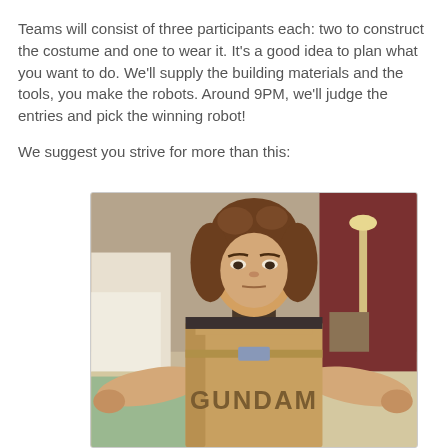Teams will consist of three participants each: two to construct the costume and one to wear it. It's a good idea to plan what you want to do. We'll supply the building materials and the tools, you make the robots. Around 9PM, we'll judge the entries and pick the winning robot!
We suggest you strive for more than this:
[Figure (photo): A young person with long curly hair wearing a makeshift cardboard box robot costume with 'GUNDAM' written on the front, standing with arms outstretched in a convention hall setting.]